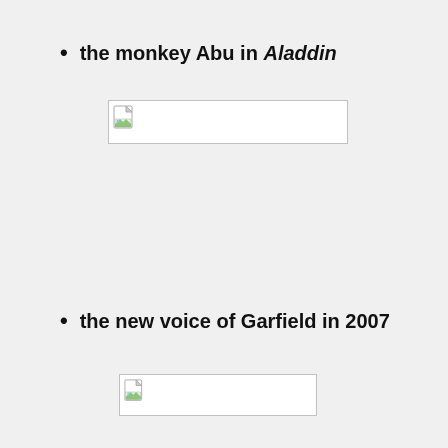the monkey Abu in Aladdin
[Figure (illustration): Broken image placeholder (wide rectangular image that failed to load)]
the new voice of Garfield in 2007
[Figure (illustration): Broken image placeholder (wide rectangular image that failed to load)]